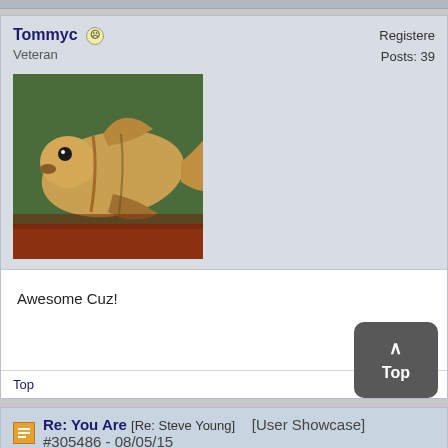Tommyc ☺ Veteran
Registered Posts: 39
[Figure (photo): Avatar image of a fish (appears to be a colorful/exotic fish) held or lying on a surface, close-up photo with warm tones]
Awesome Cuz!
Top
Re: You Are [Re: Steve Young] [User Showcase] #305486 - 08/05/15
Charlie Fogle ☺ Veteran
Registered Posts: 72 Loc: Sou
This is a good write and a great message for the times. Your produc